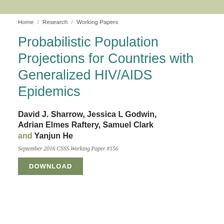Home / Research / Working Papers
Probabilistic Population Projections for Countries with Generalized HIV/AIDS Epidemics
David J. Sharrow, Jessica L Godwin, Adrian Elmes Raftery, Samuel Clark and Yanjun He
September 2016 CSSS Working Paper #156
DOWNLOAD